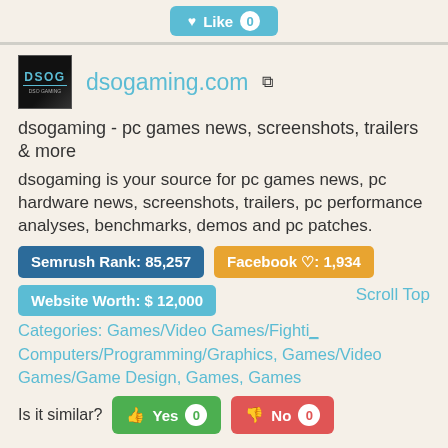Like 0
[Figure (logo): DSOG gaming website logo - black background with DSOG text in blue]
dsogaming.com
dsogaming - pc games news, screenshots, trailers & more
dsogaming is your source for pc games news, pc hardware news, screenshots, trailers, pc performance analyses, benchmarks, demos and pc patches.
Semrush Rank: 85,257
Facebook ♡: 1,934
Website Worth: $ 12,000
Scroll Top
Categories: Games/Video Games/Fighti... Computers/Programming/Graphics, Games/Video Games/Game Design, Games, Games
Is it similar? Yes 0 No 0